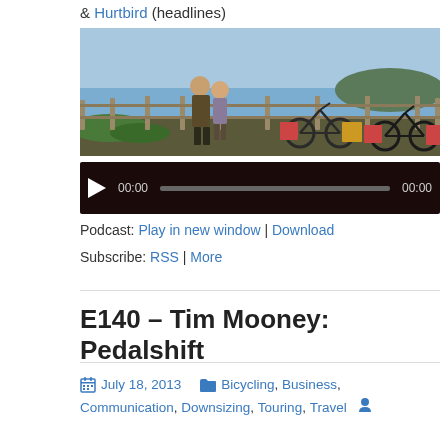& Hurtbird (headlines)
[Figure (photo): Two people standing in front of loaded touring bicycles near a waterfront fence, outdoor scenic background with water and hills]
[Figure (other): Audio player with play button, 00:00 time start, progress bar, 00:00 time end on dark background]
Podcast: Play in new window | Download
Subscribe: RSS | More
E140 – Tim Mooney: Pedalshift
July 18, 2013   Bicycling, Business, Communication, Downsizing, Touring, Travel